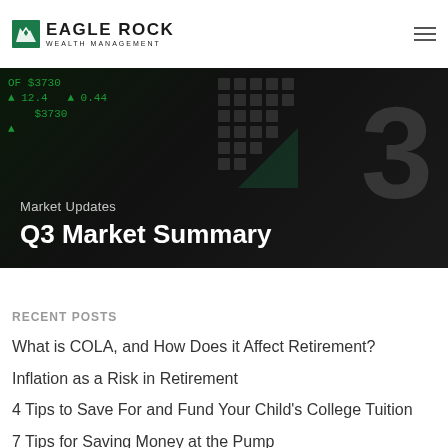Eagle Rock Wealth Management
[Figure (photo): Dark banner image showing stock market ticker data in green on black background with large Q3 text watermark. Overlay text reads 'Market Updates' and 'Q3 Market Summary']
Recent Posts
What is COLA, and How Does it Affect Retirement?
Inflation as a Risk in Retirement
4 Tips to Save For and Fund Your Child’s College Tuition
7 Tips for Saving Money at the Pump
6 Facts About Taxes